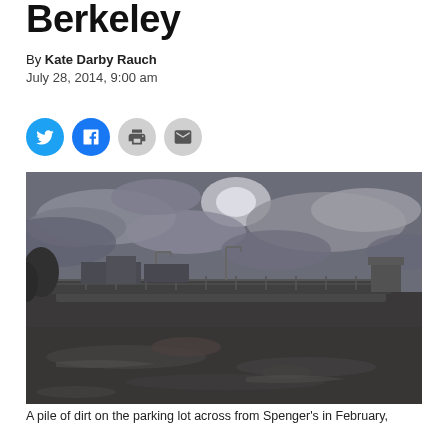Berkeley
By Kate Darby Rauch
July 28, 2014, 9:00 am
[Figure (photo): Black and white photo of a flooded parking lot with dirt pile across from Spenger's, with an overpass and dramatic cloudy sky in the background. February scene.]
A pile of dirt on the parking lot across from Spenger's in February,